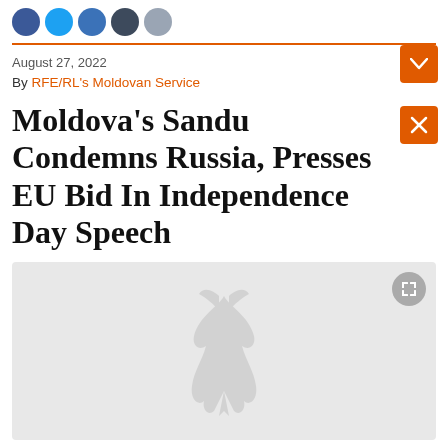Social share icons
August 27, 2022
By RFE/RL's Moldovan Service
Moldova's Sandu Condemns Russia, Presses EU Bid In Independence Day Speech
[Figure (other): Gray image placeholder with RFE/RL watermark logo and expand button]